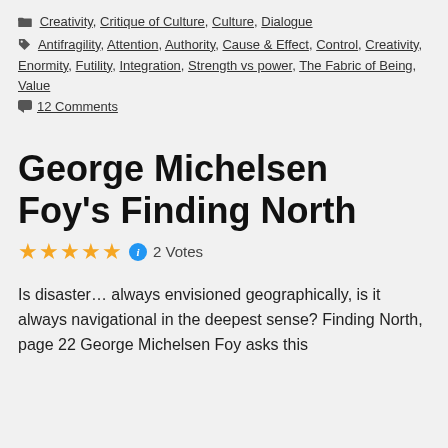Creativity, Critique of Culture, Culture, Dialogue
Antifragility, Attention, Authority, Cause & Effect, Control, Creativity, Enormity, Futility, Integration, Strength vs power, The Fabric of Being, Value
12 Comments
George Michelsen Foy's Finding North
2 Votes
Is disaster… always envisioned geographically, is it always navigational in the deepest sense? Finding North, page 22 George Michelsen Foy asks this